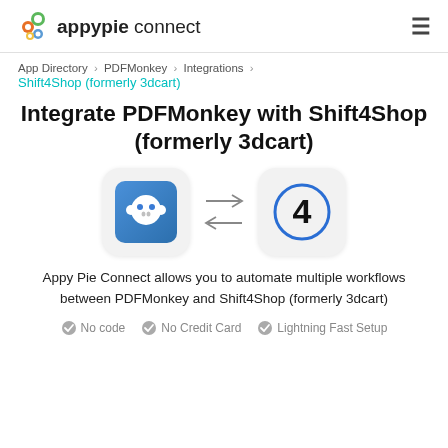appypie connect
App Directory > PDFMonkey > Integrations > Shift4Shop (formerly 3dcart)
Integrate PDFMonkey with Shift4Shop (formerly 3dcart)
[Figure (illustration): Two app icons with bidirectional arrows between them: PDFMonkey logo (monkey icon on blue gradient background) on the left, and Shift4Shop logo (number 4 in a blue circle) on the right]
Appy Pie Connect allows you to automate multiple workflows between PDFMonkey and Shift4Shop (formerly 3dcart)
No code   No Credit Card   Lightning Fast Setup